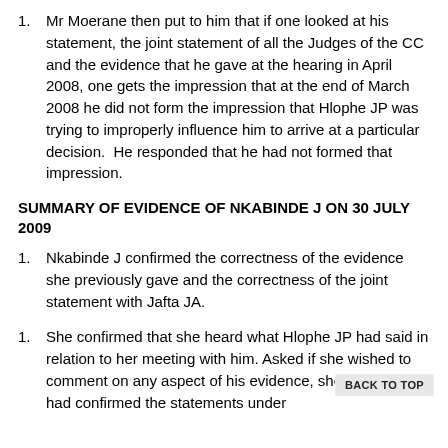Mr Moerane then put to him that if one looked at his statement, the joint statement of all the Judges of the CC and the evidence that he gave at the hearing in April 2008, one gets the impression that at the end of March 2008 he did not form the impression that Hlophe JP was trying to improperly influence him to arrive at a particular decision. He responded that he had not formed that impression.
SUMMARY OF EVIDENCE OF NKABINDE J ON 30 JULY 2009
Nkabinde J confirmed the correctness of the evidence she previously gave and the correctness of the joint statement with Jafta JA.
She confirmed that she heard what Hlophe JP had said in relation to her meeting with him. Asked if she wished to comment on any aspect of his evidence, she said she had confirmed the statements under